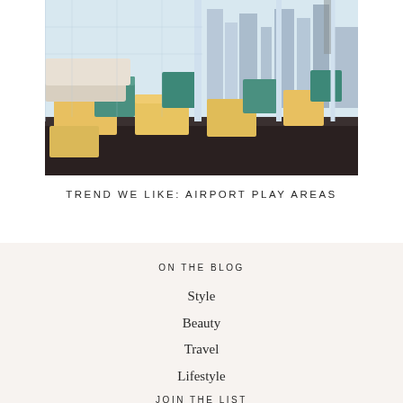[Figure (photo): Interior of an airport play/lounge area with colorful yellow and teal/green cube-shaped ottomans and seating on a dark floor, with large windows showing a cityscape in the background.]
TREND WE LIKE: AIRPORT PLAY AREAS
ON THE BLOG
Style
Beauty
Travel
Lifestyle
JOIN THE LIST